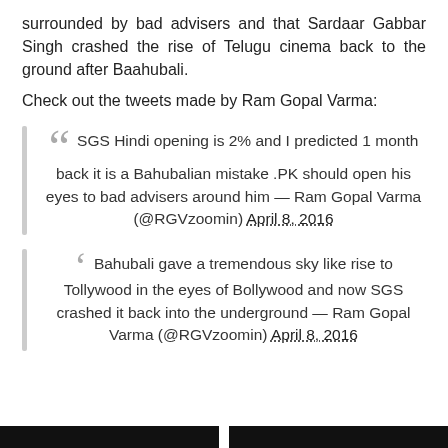surrounded by bad advisers and that Sardaar Gabbar Singh crashed the rise of Telugu cinema back to the ground after Baahubali.
Check out the tweets made by Ram Gopal Varma:
SGS Hindi opening is 2% and I predicted 1 month back it is a Bahubalian mistake .PK should open his eyes to bad advisers around him — Ram Gopal Varma (@RGVzoomin) April 8, 2016
Bahubali gave a tremendous sky like rise to Tollywood in the eyes of Bollywood and now SGS crashed it back into the underground — Ram Gopal Varma (@RGVzoomin) April 8, 2016